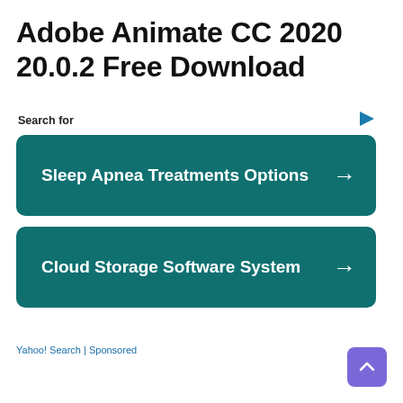Adobe Animate CC 2020 20.0.2 Free Download
Search for
Sleep Apnea Treatments Options
Cloud Storage Software System
Yahoo! Search | Sponsored